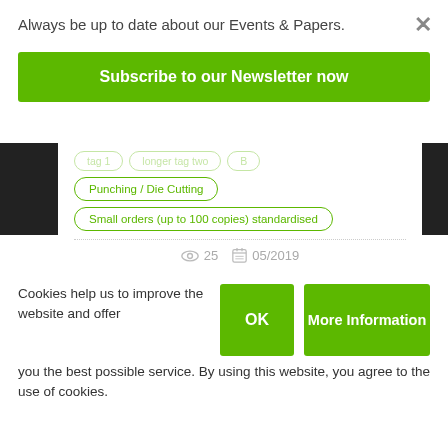Always be up to date about our Events & Papers.
Subscribe to our Newsletter now
Punching / Die Cutting
Small orders (up to 100 copies) standardised
25   05/2019
Cookies help us to improve the website and offer you the best possible service. By using this website, you agree to the use of cookies.
OK
More Information